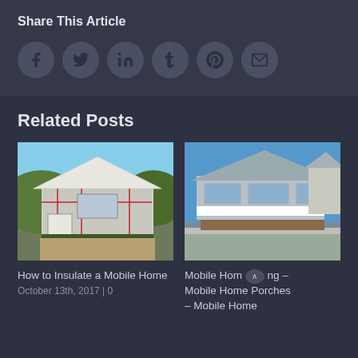Share This Article
[Figure (infographic): Row of 6 circular social media share buttons: Facebook (f), Twitter (bird), LinkedIn (in), Tumblr (t), Pinterest (p), Email (envelope)]
Related Posts
[Figure (photo): A mobile home under construction with exposed sheathing and red tape, green siding, set against a hillside]
How to Insulate a Mobile Home
October 13th, 2017 | 0
[Figure (photo): A finished mobile home with a white deck/porch railing and brick foundation, blue sky in background]
Mobile Hom^ ng – Mobile Home Porches – Mobile Home